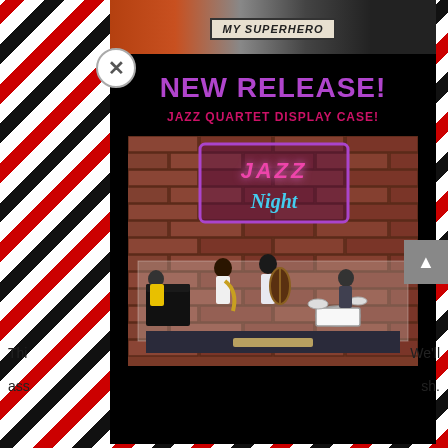[Figure (screenshot): A product popup/modal overlay on a website. Red, black and white diagonal striped border surrounds a dark modal box. The modal contains a 'NEW RELEASE!' heading in purple, a 'JAZZ QUARTET DISPLAY CASE!' subtitle in pink/red, and a product photo of a jazz quartet figurine display case with a brick wall backdrop, neon 'Jazz Night' sign, and four musician figurines on a stage. A close (X) button is in the upper left. A scroll-up arrow button is visible on the right edge. Partial background text reads 'Thi...' and 'ass...' on the left, 'We'll' and 'sh.' on the right.]
NEW RELEASE!
JAZZ QUARTET DISPLAY CASE!
Thi... We'll ass... sh.